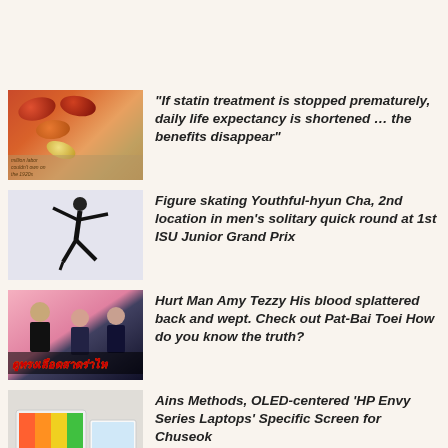“If statin treatment is stopped prematurely, daily life expectancy is shortened … the benefits disappear”
Figure skating Youthful-hyun Cha, 2nd location in men’s solitary quick round at 1st ISU Junior Grand Prix
Hurt Man Amy Tezzy His blood splattered back and wept. Check out Pat-Bai Toei How do you know the truth?
Ains Methods, OLED-centered ‘HP Envy Series Laptops’ Specific Screen for Chuseok